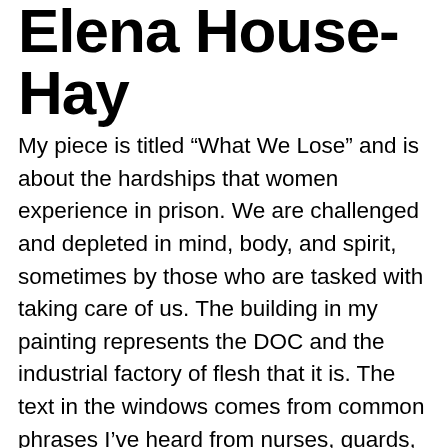Elena House-Hay
My piece is titled “What We Lose” and is about the hardships that women experience in prison. We are challenged and depleted in mind, body, and spirit, sometimes by those who are tasked with taking care of us. The building in my painting represents the DOC and the industrial factory of flesh that it is. The text in the windows comes from common phrases I’ve heard from nurses, guards, and other staff. I chose the words because they are both invalidating and routine. The hand and the words outside the building represent the experience of the outside family as they witness the process of incarceration. Lastly, the cold claws reaching out of the building are symbolic of the heartless ingress